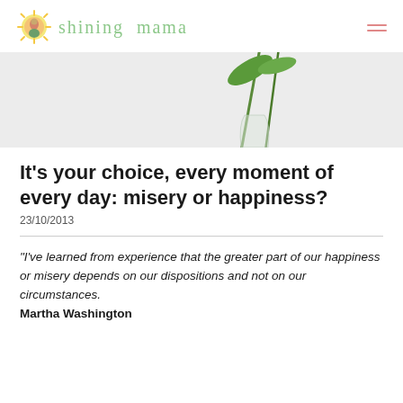shining mama
[Figure (photo): Hero image showing green plant stems/leaves in a glass vase against a light grey background]
It's your choice, every moment of every day: misery or happiness?
23/10/2013
"I've learned from experience that the greater part of our happiness or misery depends on our dispositions and not on our circumstances.
Martha Washington